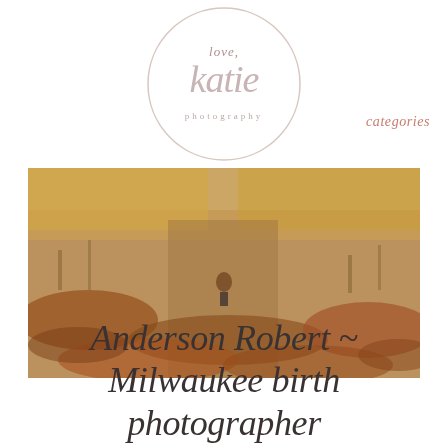menu
categories
[Figure (logo): Circular logo for 'love, katie photography' with cursive script text inside a circle outline]
[Figure (photo): Outdoor autumn scene showing fallen leaves and dried grass on a path, with a small child visible in the distance walking away from the camera]
Anderson Robert ~ Milwaukee birth photographer